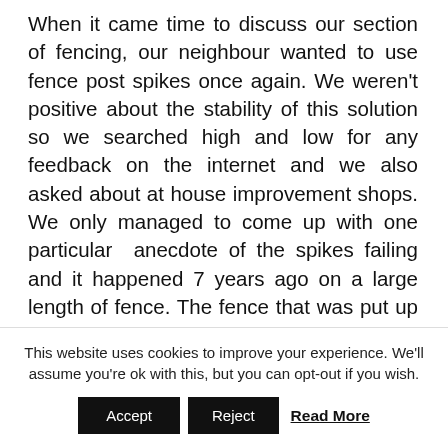When it came time to discuss our section of fencing, our neighbour wanted to use fence post spikes once again. We weren't positive about the stability of this solution so we searched high and low for any feedback on the internet and we also asked about at house improvement shops. We only managed to come up with one particular anecdote of the spikes failing and it happened 7 years ago on a large length of fence. The fence that was put up this week is only 25 feet long (the exact same length as the fence our neighbour built). The f...
This website uses cookies to improve your experience. We'll assume you're ok with this, but you can opt-out if you wish.